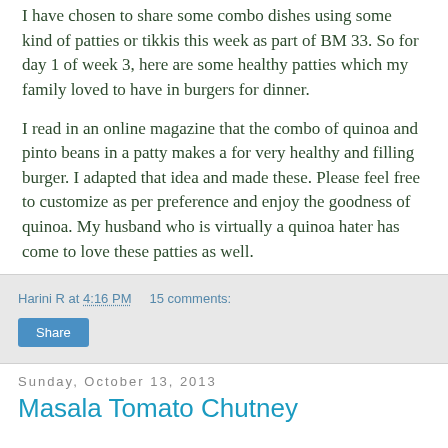I have chosen to share some combo dishes using some kind of patties or tikkis this week as part of BM 33. So for day 1 of week 3, here are some healthy patties which my family loved to have in burgers for dinner.
I read in an online magazine that the combo of quinoa and pinto beans in a patty makes a for very healthy and filling burger. I adapted that idea and made these. Please feel free to customize as per preference and enjoy the goodness of quinoa. My husband who is virtually a quinoa hater has come to love these patties as well.
Harini R at 4:16 PM    15 comments:
Share
Sunday, October 13, 2013
Masala Tomato Chutney